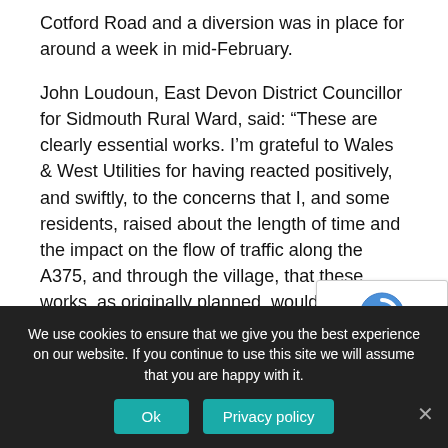Cotford Road and a diversion was in place for around a week in mid-February.
John Loudoun, East Devon District Councillor for Sidmouth Rural Ward, said: “These are clearly essential works. I’m grateful to Wales & West Utilities for having reacted positively, and swiftly, to the concerns that I, and some residents, raised about the length of time and the impact on the flow of traffic along the A375, and through the village, that these works, as originally planned, would have had.
[Figure (other): reCAPTCHA widget overlay with circular arrow icon and Privacy - Terms links]
We use cookies to ensure that we give you the best experience on our website. If you continue to use this site we will assume that you are happy with it.